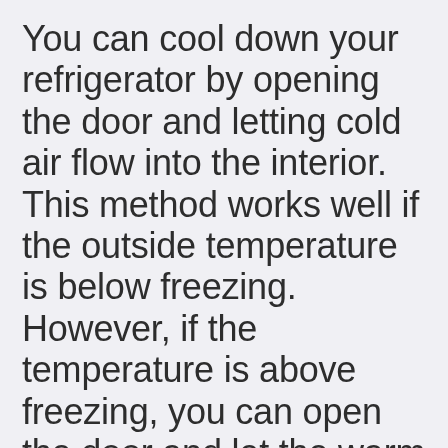You can cool down your refrigerator by opening the door and letting cold air flow into the interior. This method works well if the outside temperature is below freezing. However, if the temperature is above freezing, you can open the door and let the warm air flow out. To prevent